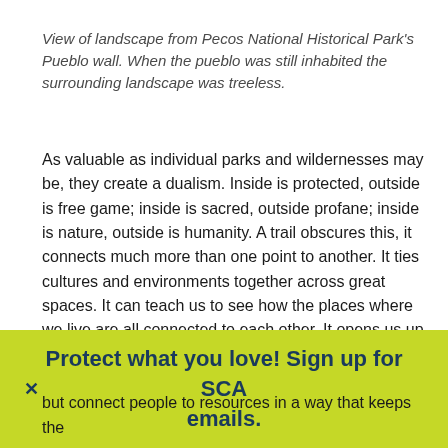View of landscape from Pecos National Historical Park's Pueblo wall. When the pueblo was still inhabited the surrounding landscape was treeless.
As valuable as individual parks and wildernesses may be, they create a dualism. Inside is protected, outside is free game; inside is sacred, outside profane; inside is nature, outside is humanity. A trail obscures this, it connects much more than one point to another. It ties cultures and environments together across great spaces. It can teach us to see how the places where we live are all connected to each other. It opens us up to see how our individual rivers all combine into one great ocean. It also reminds us that nature and culture are dynamic and changing spaces, and that conservation is less about
Protect what you love! Sign up for SCA emails.
but connect people to resources in a way that keeps the